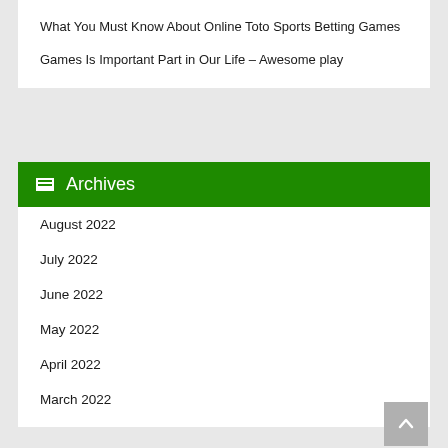What You Must Know About Online Toto Sports Betting Games
Games Is Important Part in Our Life – Awesome play
Archives
August 2022
July 2022
June 2022
May 2022
April 2022
March 2022